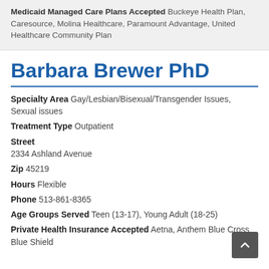Medicaid Managed Care Plans Accepted Buckeye Health Plan, Caresource, Molina Healthcare, Paramount Advantage, United Healthcare Community Plan
Barbara Brewer PhD
Specialty Area Gay/Lesbian/Bisexual/Transgender Issues, Sexual issues
Treatment Type Outpatient
Street 2334 Ashland Avenue
Zip 45219
Hours Flexible
Phone 513-861-8365
Age Groups Served Teen (13-17), Young Adult (18-25)
Private Health Insurance Accepted Aetna, Anthem Blue Cross Blue Shield